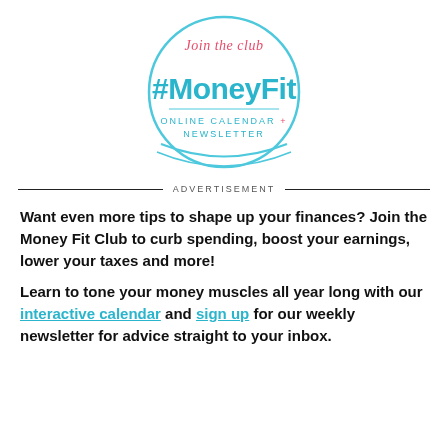[Figure (logo): Circular badge logo with light blue circle outline. Text inside: 'Join the club' in coral/red at top, '#MoneyFit' in large teal/blue letters, 'ONLINE CALENDAR + NEWSLETTER' in small teal all-caps text at bottom.]
ADVERTISEMENT
Want even more tips to shape up your finances? Join the Money Fit Club to curb spending, boost your earnings, lower your taxes and more!
Learn to tone your money muscles all year long with our interactive calendar and sign up for our weekly newsletter for advice straight to your inbox.